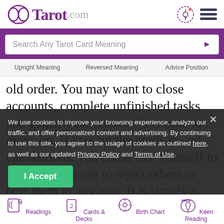Tarot.com
Search Any Tarot Card Meaning
Upright Meaning   Reversed Meaning   Advice Position
old order. You may want to close accounts, complete unfinished tasks, and gather your harvest. It is time to move on. If you cut the cords th... conventions, you could free yourself to join the sy... xcuse to reject others or hurt them in any way. It is simply a ... toward your ultimate interests.
We use cookies to improve your browsing experience, analyze our traffic, and offer personalized content and advertising. By continuing to use this site, you agree to the usage of cookies as outlined here, as well as our updated Privacy Policy and Terms of Use.
I Accept
Readings   Cards & Decks   Birth Chart   Keen Reading